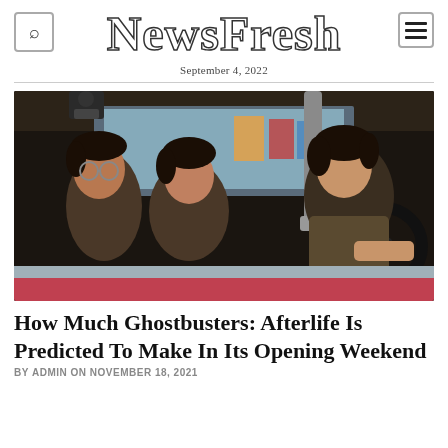NewsFresh
September 4, 2022
[Figure (photo): Three young actors inside a vehicle, two boys on the left looking alarmed and a teenage boy on the right holding a steering wheel, from the movie Ghostbusters: Afterlife]
How Much Ghostbusters: Afterlife Is Predicted To Make In Its Opening Weekend
BY ADMIN ON NOVEMBER 18, 2021